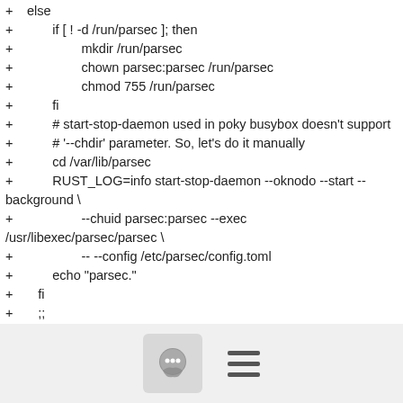+ else
+         if [ ! -d /run/parsec ]; then
+                 mkdir /run/parsec
+                 chown parsec:parsec /run/parsec
+                 chmod 755 /run/parsec
+         fi
+         # start-stop-daemon used in poky busybox doesn't support
+         # '--chdir' parameter. So, let's do it manually
+         cd /var/lib/parsec
+         RUST_LOG=info start-stop-daemon --oknodo --start --background \
+                 --chuid parsec:parsec --exec /usr/libexec/parsec/parsec \
+                 -- --config /etc/parsec/config.toml
+         echo "parsec."
+     fi
+     ;;
+   stop)
+     echo -n "Stopping Parsec daemon: "
+     start-stop-daemon --oknodo --stop --exec
[Figure (other): Footer bar with chat bubble icon button and hamburger menu icon]